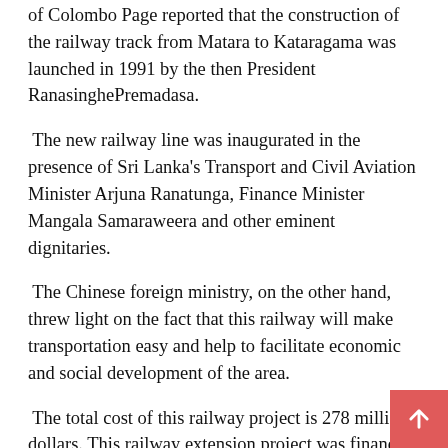of Colombo Page reported that the construction of the railway track from Matara to Kataragama was launched in 1991 by the then President RanasinghePremadasa.
The new railway line was inaugurated in the presence of Sri Lanka's Transport and Civil Aviation Minister Arjuna Ranatunga, Finance Minister Mangala Samaraweera and other eminent dignitaries.
The Chinese foreign ministry, on the other hand, threw light on the fact that this railway will make transportation easy and help to facilitate economic and social development of the area.
The total cost of this railway project is 278 million dollars. This railway extension project was financed by the Export-Import Bank of China (China Exim Bank). The contract was given to the China National Machinery